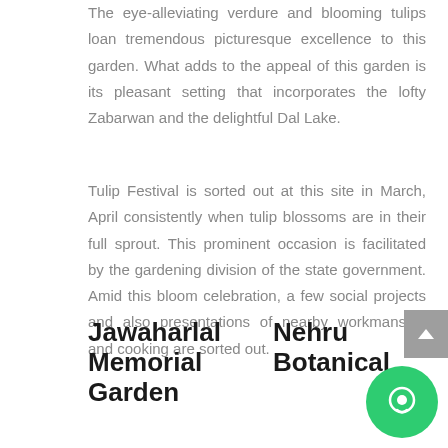The eye-alleviating verdure and blooming tulips loan tremendous picturesque excellence to this garden. What adds to the appeal of this garden is its pleasant setting that incorporates the lofty Zabarwan and the delightful Dal Lake.
Tulip Festival is sorted out at this site in March, April consistently when tulip blossoms are in their full sprout. This prominent occasion is facilitated by the gardening division of the state government. Amid this bloom celebration, a few social projects and also presentations of nearby workmanship and cooking are sorted out.
Jawaharlal Memorial Garden
Nehru Botanical